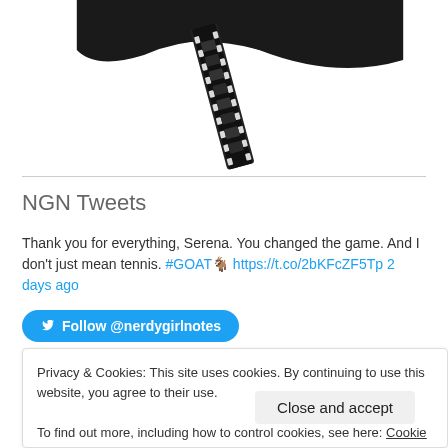[Figure (logo): Film reel and dark banner logo at top of page]
NGN Tweets
Thank you for everything, Serena. You changed the game. And I don't just mean tennis. #GOAT🐐 https://t.co/2bKFcZF5Tp 2 days ago
Follow @nerdygirlnotes
Privacy & Cookies: This site uses cookies. By continuing to use this website, you agree to their use.
To find out more, including how to control cookies, see here: Cookie Policy
Close and accept